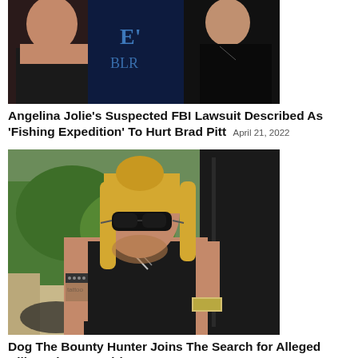[Figure (photo): Photo of Angelina Jolie and Brad Pitt at what appears to be a Disney event, partial image at top of page]
Angelina Jolie's Suspected FBI Lawsuit Described As 'Fishing Expedition' To Hurt Brad Pitt April 21, 2022
[Figure (photo): Photo of Dog the Bounty Hunter (Duane Chapman) wearing sunglasses, sitting in a vehicle with long blonde hair and tattoos visible]
Dog The Bounty Hunter Joins The Search for Alleged Killer Brian Laundrie September 25, 2021